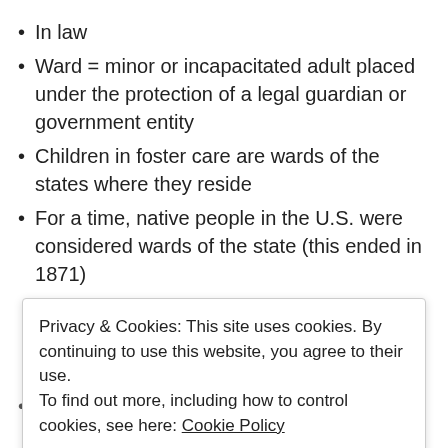In law
Ward = minor or incapacitated adult placed under the protection of a legal guardian or government entity
Children in foster care are wards of the states where they reside
For a time, native people in the U.S. were considered wards of the state (this ended in 1871)
Privacy & Cookies: This site uses cookies. By continuing to use this website, you agree to their use. To find out more, including how to control cookies, see here: Cookie Policy
Close and accept
Making a child a ward of court might be necessary